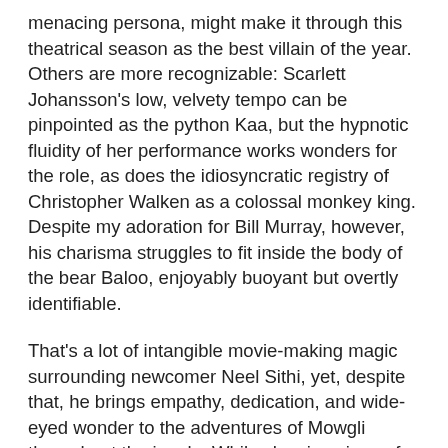menacing persona, might make it through this theatrical season as the best villain of the year. Others are more recognizable: Scarlett Johansson's low, velvety tempo can be pinpointed as the python Kaa, but the hypnotic fluidity of her performance works wonders for the role, as does the idiosyncratic registry of Christopher Walken as a colossal monkey king. Despite my adoration for Bill Murray, however, his charisma struggles to fit inside the body of the bear Baloo, enjoyably buoyant but overtly identifiable.
That's a lot of intangible movie-making magic surrounding newcomer Neel Sithi, yet, despite that, he brings empathy, dedication, and wide-eyed wonder to the adventures of Mowgli throughout the jungle. While showing signs of inexperience, his strong youthful performance goes a long way toward enriching the theme surrounding a human existing in the world of animals, where his use of tools and ingenuity to supplement his lack of raw instinct and physical prowess becomes a complex backbone for the story. Neel Sithi's performance has depth and adaptability to it, fleshing out Mowgli as a distinct personality instead of a prop moving through the computer-generated apparatus, lending